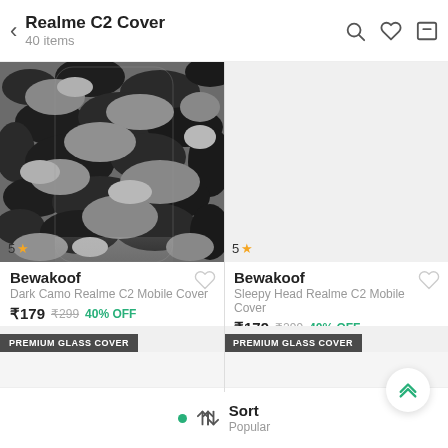Realme C2 Cover – 40 items
[Figure (photo): Dark camo pattern phone cover product image]
5 ★
Bewakoof
Dark Camo Realme C2 Mobile Cover
₹179  ₹299  40% OFF
[Figure (photo): Light grey placeholder product image for Sleepy Head cover]
5 ★
Bewakoof
Sleepy Head Realme C2 Mobile Cover
₹179  ₹299  40% OFF
PREMIUM GLASS COVER
PREMIUM GLASS COVER
Sort  Popular